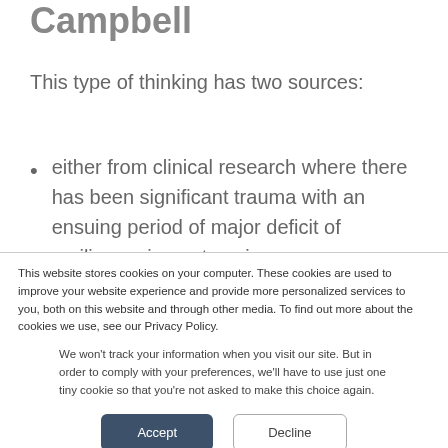Campbell
This type of thinking has two sources:
either from clinical research where there has been significant trauma with an ensuing period of major deficit of resilience, i.e. not coping
This website stores cookies on your computer. These cookies are used to improve your website experience and provide more personalized services to you, both on this website and through other media. To find out more about the cookies we use, see our Privacy Policy.
We won't track your information when you visit our site. But in order to comply with your preferences, we'll have to use just one tiny cookie so that you're not asked to make this choice again.